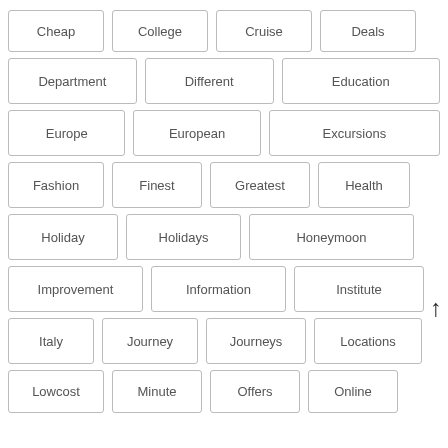Cheap
College
Cruise
Deals
Department
Different
Education
Europe
European
Excursions
Fashion
Finest
Greatest
Health
Holiday
Holidays
Honeymoon
Improvement
Information
Institute
Italy
Journey
Journeys
Locations
Lowcost
Minute
Offers
Online